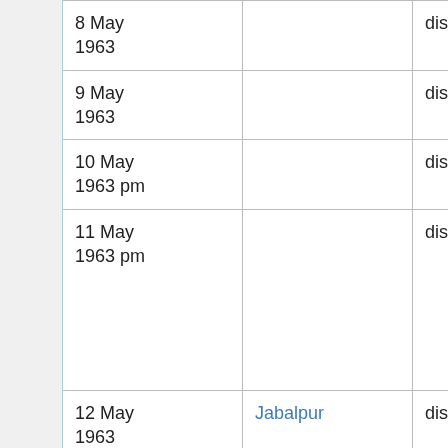|  | Date | Place | Type |
| --- | --- | --- | --- |
|  | 8 May 1963 |  | discourse |
|  | 9 May 1963 |  | discourse |
|  | 10 May 1963 pm |  | discourse |
|  | 11 May 1963 pm |  | discourse |
|  | 12 May 1963 | Jabalpur | discourse |
|  | 15 May 1963 | Jabalpur | discourse |